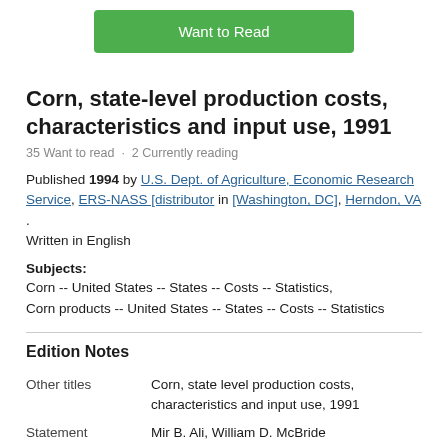[Figure (other): Green 'Want to Read' button UI element]
Corn, state-level production costs, characteristics and input use, 1991
35 Want to read · 2 Currently reading
Published 1994 by U.S. Dept. of Agriculture, Economic Research Service, ERS-NASS [distributor in [Washington, DC], Herndon, VA . Written in English
Subjects:
Corn -- United States -- States -- Costs -- Statistics,
Corn products -- United States -- States -- Costs -- Statistics
Edition Notes
| Other titles | Corn, state level production costs, characteristics and input use, 1991 |
| Statement | Mir B. Ali, William D. McBride |
|  | Statistical bulletin -- no. 891, Statistical bulletin |